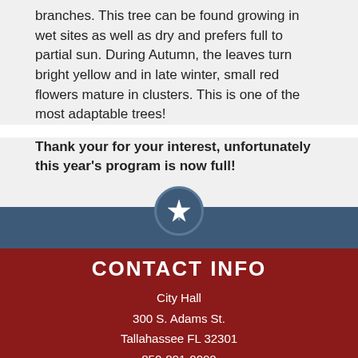branches. This tree can be found growing in wet sites as well as dry and prefers full to partial sun. During Autumn, the leaves turn bright yellow and in late winter, small red flowers mature in clusters. This is one of the most adaptable trees!
Thank your for your interest, unfortunately this year's program is now full!
[Figure (logo): City logo - white star symbol on dark blue circular badge]
CONTACT INFO
City Hall
300 S. Adams St.
Tallahassee FL 32301
850-891-0000
Maps and Directions
Contact Us
Translate This Site